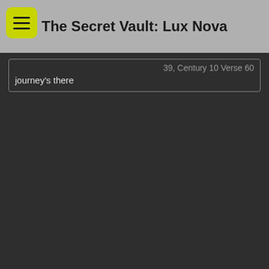The Secret Vault: Lux Nova
39, Century 10 Verse 60
journey's there